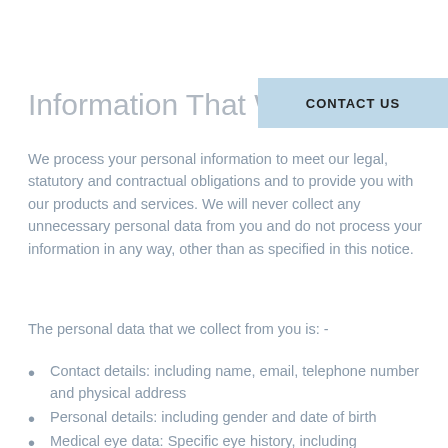Information That We Collect
[Figure (other): Light blue banner with bold text 'CONTACT US']
We process your personal information to meet our legal, statutory and contractual obligations and to provide you with our products and services. We will never collect any unnecessary personal data from you and do not process your information in any way, other than as specified in this notice.
The personal data that we collect from you is: -
Contact details: including name, email, telephone number and physical address
Personal details: including gender and date of birth
Medical eye data: Specific eye history, including prescriptions and previous eye surgery. These are